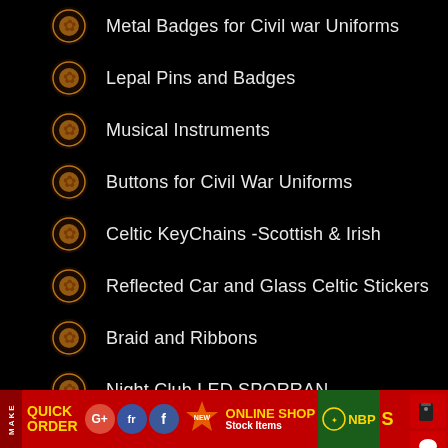Metal Badges for Civil war Uniforms
Lepal Pins and Badges
Musical Instruments
Buttons for Civil War Uniforms
Celtic KeyChains -Scottish & Irish
Reflected Car and Glass Celtic Stickers
Braid and Ribbons
Night Club LED SPORRAN
Hand Embroidery Coats
Funky & Party Wears
Hotel Uniforms and Club Wear
Sports keyChains
MAKE QUICK ORDER | ONLINE SHOP Stock Items | NBP